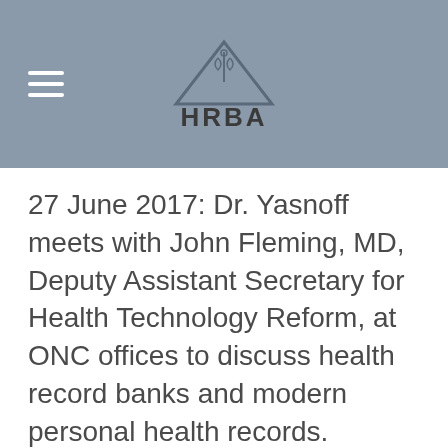HRBA
27 June 2017: Dr. Yasnoff meets with John Fleming, MD, Deputy Assistant Secretary for Health Technology Reform, at ONC offices to discuss health record banks and modern personal health records.
8 June 2017: Richard Gibson meets with Drs. Don Rucker and John Fleming and Principal Deputy